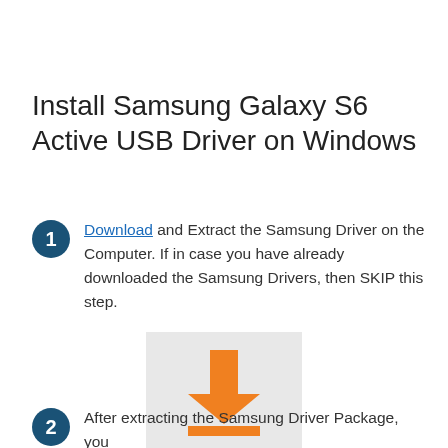Install Samsung Galaxy S6 Active USB Driver on Windows
Download and Extract the Samsung Driver on the Computer. If in case you have already downloaded the Samsung Drivers, then SKIP this step.
[Figure (illustration): Download icon: orange downward arrow above an orange horizontal bar, on a light gray square background]
After extracting the Samsung Driver Package, you